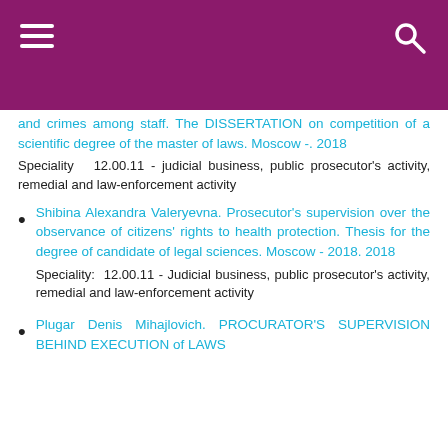and crimes among staff. The DISSERTATION on competition of a scientific degree of the master of laws. Moscow -. 2018
Speciality 12.00.11 - judicial business, public prosecutor's activity, remedial and law-enforcement activity
Shibina Alexandra Valeryevna. Prosecutor's supervision over the observance of citizens' rights to health protection. Thesis for the degree of candidate of legal sciences. Moscow - 2018. 2018
Speciality: 12.00.11 - Judicial business, public prosecutor's activity, remedial and law-enforcement activity
Plugar Denis Mihajlovich. PROCURATOR'S SUPERVISION BEHIND EXECUTION of LAWS